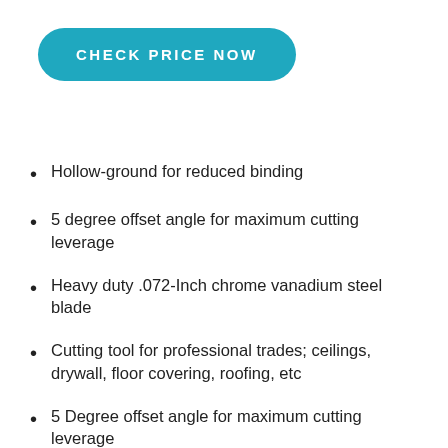[Figure (other): Teal rounded rectangle button with white uppercase text 'CHECK PRICE NOW']
Hollow-ground for reduced binding
5 degree offset angle for maximum cutting leverage
Heavy duty .072-Inch chrome vanadium steel blade
Cutting tool for professional trades; ceilings, drywall, floor covering, roofing, etc
5 Degree offset angle for maximum cutting leverage